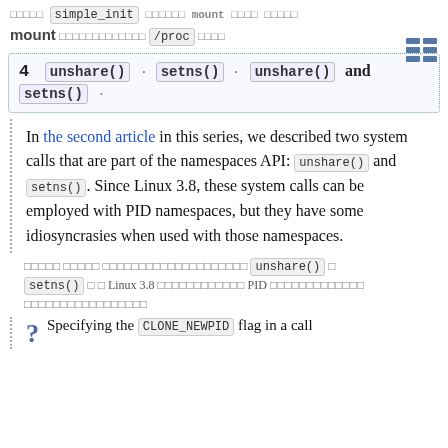simple_init mount /proc
4  unshare() · setns() · unshare() and setns() ·
In the second article in this series, we described two system calls that are part of the namespaces API: unshare() and setns(). Since Linux 3.8, these system calls can be employed with PID namespaces, but they have some idiosyncrasies when used with those namespaces.
[Thai text] unshare() [Thai] setns() [Thai] Linux 3.8 [Thai] PID [Thai]
? Specifying the CLONE_NEWPID flag in a call